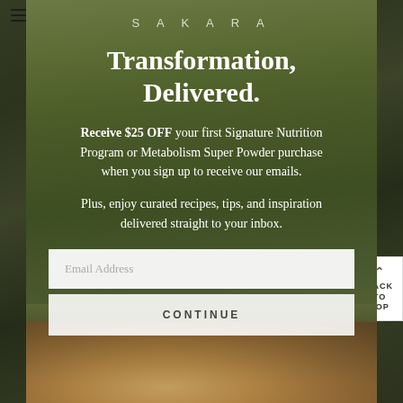[Figure (screenshot): Sakara website with a modal email signup overlay on top of a food/meal preparation background photo. The modal shows the Sakara logo, promotional text, email input field, and a continue button. A 'BACK TO TOP' button is visible on the right edge.]
SAKARA
Transformation, Delivered.
Receive $25 OFF your first Signature Nutrition Program or Metabolism Super Powder purchase when you sign up to receive our emails.
Plus, enjoy curated recipes, tips, and inspiration delivered straight to your inbox.
Email Address
CONTINUE